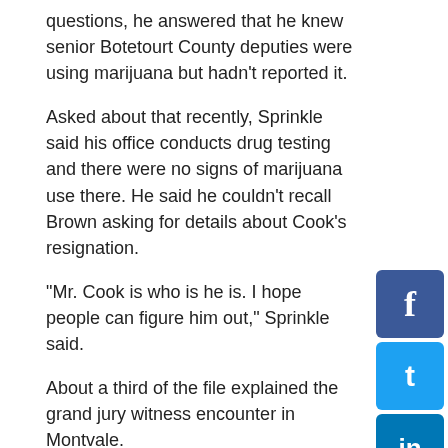questions, he answered that he knew senior Botetourt County deputies were using marijuana but hadn't reported it.
Asked about that recently, Sprinkle said his office conducts drug testing and there were no signs of marijuana use there. He said he couldn't recall Brown asking for details about Cook's resignation.
“Mr. Cook is who is he is. I hope people can figure him out,” Sprinkle said.
About a third of the file explained the grand jury witness encounter in Montvale.
Beers argued in court papers that Cook “committed any number of crimes including” indecent exposure, obscene sexual display, public intoxication and driving under the influence, all misdemeanor charges that carry a one-year statute of limitations which had been passed by fall 2015...